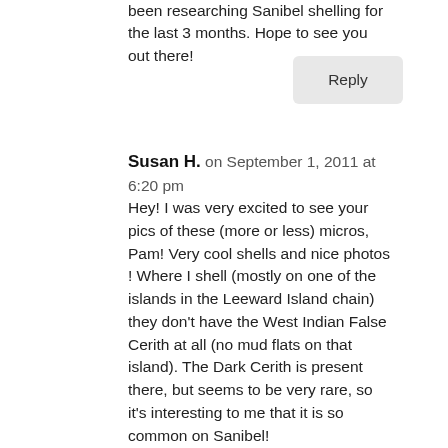been researching Sanibel shelling for the last 3 months. Hope to see you out there!
Reply
Susan H. on September 1, 2011 at 6:20 pm
Hey! I was very excited to see your pics of these (more or less) micros, Pam! Very cool shells and nice photos ! Where I shell (mostly on one of the islands in the Leeward Island chain) they don't have the West Indian False Cerith at all (no mud flats on that island). The Dark Cerith is present there, but seems to be very rare, so it's interesting to me that it is so common on Sanibel!